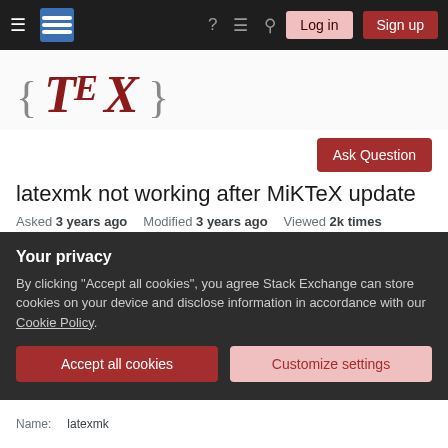Stack Exchange navigation bar with hamburger menu, logo, help, chat, search icons, Log in and Sign up buttons
[Figure (logo): TeX Stack Exchange logo: curly braces with TeX text in dark red serif font]
Ask Question
latexmk not working after MiKTeX update
Asked 3 years ago   Modified 3 years ago   Viewed 2k times
I am using MiKTeX/TeXworks and set latexmk up
Your privacy
By clicking "Accept all cookies", you agree Stack Exchange can store cookies on your device and disclose information in accordance with our Cookie Policy.
Accept all cookies   Customize settings
Name:   latexmk